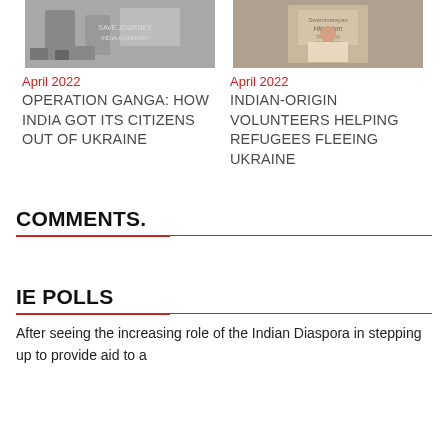[Figure (photo): Photo of people at an airport with a sign about India-Hungary journey, luggage visible]
[Figure (photo): Photo of a speaker at a podium with a Swaminarayan Hinduism banner in background]
April 2022
OPERATION GANGA: HOW INDIA GOT ITS CITIZENS OUT OF UKRAINE
April 2022
INDIAN-ORIGIN VOLUNTEERS HELPING REFUGEES FLEEING UKRAINE
COMMENTS.
IE POLLS
After seeing the increasing role of the Indian Diaspora in stepping up to provide aid to a